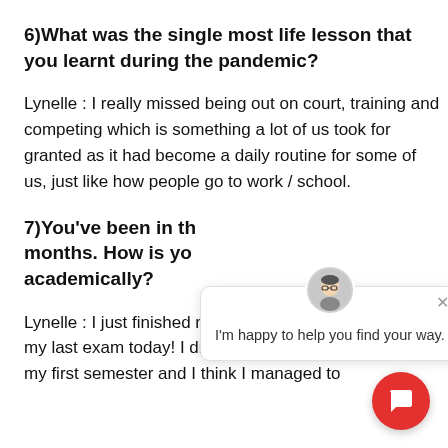6)What was the single most life lesson that you learnt during the pandemic?
Lynelle : I really missed being out on court, training and competing which is something a lot of us took for granted as it had become a daily routine for some of us, just like how people go to work / school.
7)You've been in th months. How is yo academically?
[Figure (other): Chat widget popup with avatar of a cartoon person wearing glasses and text: I'm happy to help you find your way. With a close X button.]
Lynelle : I just finished my first semester a my last exam today! I did pretty well ove my first semester and I think I managed to